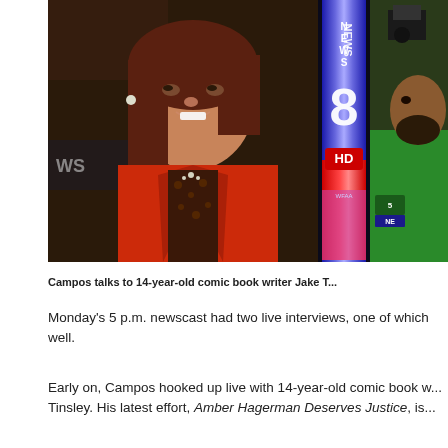[Figure (photo): TV news screenshot showing a female anchor in a red jacket with leopard-print blouse on the left, a vertical illuminated NEWS 8 HD logo banner in the center, and a man in a green shirt on the right. Background shows a news studio set.]
Campos talks to 14-year-old comic book writer Jake T...
Monday's 5 p.m. newscast had two live interviews, one of which well.
Early on, Campos hooked up live with 14-year-old comic book w... Tinsley. His latest effort, Amber Hagerman Deserves Justice, is...